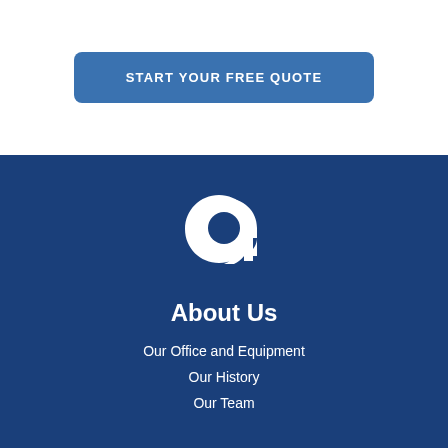START YOUR FREE QUOTE
[Figure (logo): White stylized lowercase letter 'a' logo on dark blue background]
About Us
Our Office and Equipment
Our History
Our Team